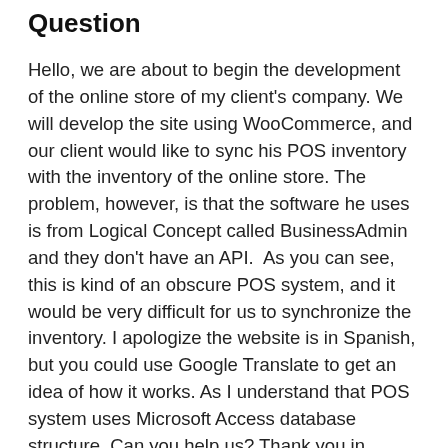Question
Hello, we are about to begin the development of the online store of my client's company. We will develop the site using WooCommerce, and our client would like to sync his POS inventory with the inventory of the online store. The problem, however, is that the software he uses is from Logical Concept called BusinessAdmin and they don't have an API.  As you can see, this is kind of an obscure POS system, and it would be very difficult for us to synchronize the inventory. I apologize the website is in Spanish, but you could use Google Translate to get an idea of how it works. As I understand that POS system uses Microsoft Access database structure. Can you help us? Thank you in advance.